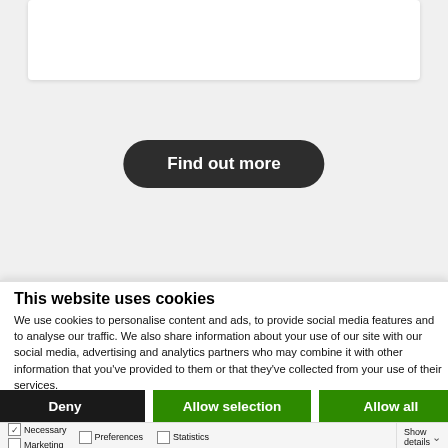[Figure (screenshot): Top gray card section with white inner card partial view]
Find out more
[Figure (screenshot): Second gray card section with partial heading text 'Datasensing inaugurates a new']
This website uses cookies
We use cookies to personalise content and ads, to provide social media features and to analyse our traffic. We also share information about your use of our site with our social media, advertising and analytics partners who may combine it with other information that you've provided to them or that they've collected from your use of their services.
Deny
Allow selection
Allow all
Necessary  Preferences  Statistics  Marketing  Show details